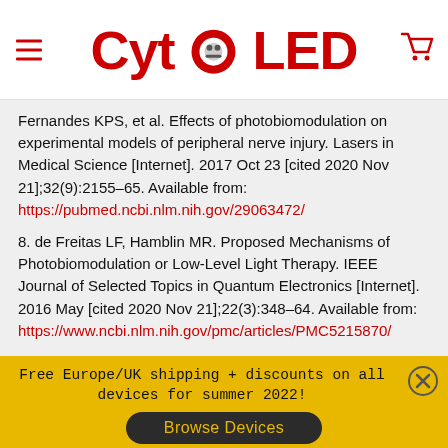CytoLED
Fernandes KPS, et al. Effects of photobiomodulation on experimental models of peripheral nerve injury. Lasers in Medical Science [Internet]. 2017 Oct 23 [cited 2020 Nov 21];32(9):2155–65. Available from: https://pubmed.ncbi.nlm.nih.gov/29063472/
8. de Freitas LF, Hamblin MR. Proposed Mechanisms of Photobiomodulation or Low-Level Light Therapy. IEEE Journal of Selected Topics in Quantum Electronics [Internet]. 2016 May [cited 2020 Nov 21];22(3):348–64. Available from: https://www.ncbi.nlm.nih.gov/pmc/articles/PMC5215870/
9. Karu T. Primary and secondary mechanisms of action of visible to near-IR radiation on cells. Journal of Photochemistry and
Free Europe/UK shipping + discounts on all devices for summer 2022!
Browse Devices